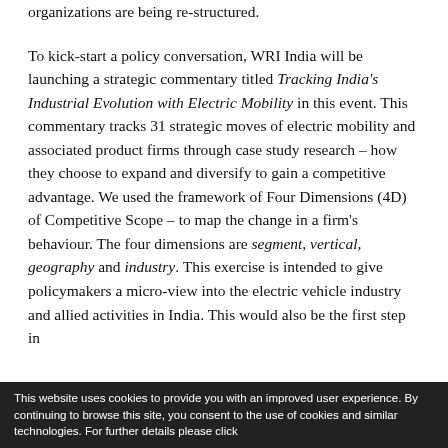organizations are being re-structured.

To kick-start a policy conversation, WRI India will be launching a strategic commentary titled Tracking India's Industrial Evolution with Electric Mobility in this event. This commentary tracks 31 strategic moves of electric mobility and associated product firms through case study research – how they choose to expand and diversify to gain a competitive advantage. We used the framework of Four Dimensions (4D) of Competitive Scope – to map the change in a firm's behaviour. The four dimensions are segment, vertical, geography and industry. This exercise is intended to give policymakers a micro-view into the electric vehicle industry and allied activities in India. This would also be the first step in
This website uses cookies to provide you with an improved user experience. By continuing to browse this site, you consent to the use of cookies and similar technologies. For further details please click...